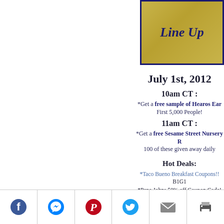[Figure (illustration): Decorative banner with olive/gold damask background and navy border, italic text reading 'Line Up' in navy blue]
July 1st, 2012
10am CT :
*Get a free sample of Hearos Ear [plugs] First 5,000 People!
11am CT :
*Get a free Sesame Street Nursery [item] 100 of these given away daily
Hot Deals:
*Taco Bueno Breakfast Coupons!! B1G1
*Papa Johns 50% off Coupon Code! (Va[lid...])
*Free Kiss Nails at Dollar General! (af[ter...])
*Dr. Scholl's For Her Item at Target Only $.9[x]
*Free Heinz Vinegar at Target! (after[...])
*Kate Spade Large Dots Iphone 4 Case Only $7.2[x]
*Pink & Black Amazon Kindles Cases $4.8[x]
[Figure (infographic): Social sharing bar with Facebook, Messenger, Pinterest, Twitter, Mail, and Print icons]